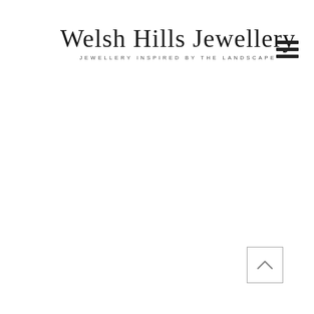Welsh Hills Jewellery — JEWELLERY INSPIRED BY THE LANDSCAPE
[Figure (other): Add to Basket button, grey background with white bold uppercase text 'ADD TO BASKET']
[Figure (other): Back to top button, square with border and upward chevron arrow]